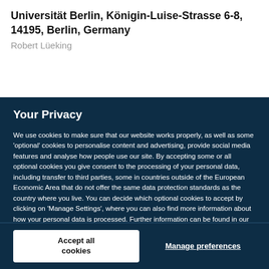Universität Berlin, Königin-Luise-Strasse 6-8, 14195, Berlin, Germany
Robert Lüeking
Your Privacy
We use cookies to make sure that our website works properly, as well as some 'optional' cookies to personalise content and advertising, provide social media features and analyse how people use our site. By accepting some or all optional cookies you give consent to the processing of your personal data, including transfer to third parties, some in countries outside of the European Economic Area that do not offer the same data protection standards as the country where you live. You can decide which optional cookies to accept by clicking on 'Manage Settings', where you can also find more information about how your personal data is processed. Further information can be found in our privacy policy.
Accept all cookies
Manage preferences